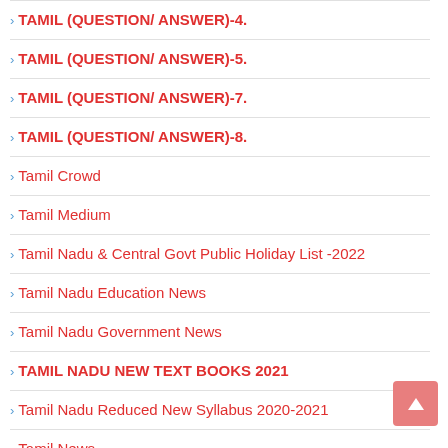TAMIL (QUESTION/ ANSWER)-4.
TAMIL (QUESTION/ ANSWER)-5.
TAMIL (QUESTION/ ANSWER)-7.
TAMIL (QUESTION/ ANSWER)-8.
Tamil Crowd
Tamil Medium
Tamil Nadu & Central Govt Public Holiday List -2022
Tamil Nadu Education News
Tamil Nadu Government News
TAMIL NADU NEW TEXT BOOKS 2021
Tamil Nadu Reduced New Syllabus 2020-2021
Tamil News
Tamil Online Jobs